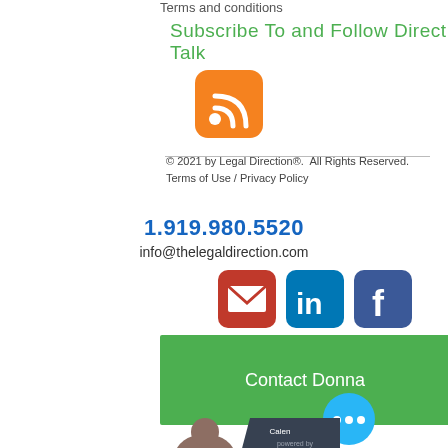Terms and conditions
Subscribe To and Follow Direct Talk
[Figure (logo): Orange RSS feed icon]
© 2021 by Legal Direction®.  All Rights Reserved.
Terms of Use / Privacy Policy
1.919.980.5520
info@thelegaldirection.com
[Figure (logo): Email icon (red), LinkedIn icon (blue), Facebook icon (dark blue)]
Contact Donna
[Figure (photo): Partially visible photo of a person (head/shoulders) at bottom of page, with dark banner showing 'Calendly' text]